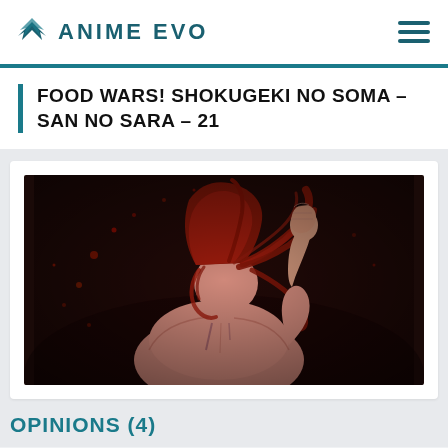ANIME EVO
FOOD WARS! SHOKUGEKI NO SOMA – SAN NO SARA – 21
[Figure (illustration): Anime screenshot showing a character with long red hair viewed from behind, their arm raised in a dramatic pose, against a dark background with red particles]
OPINIONS (4)